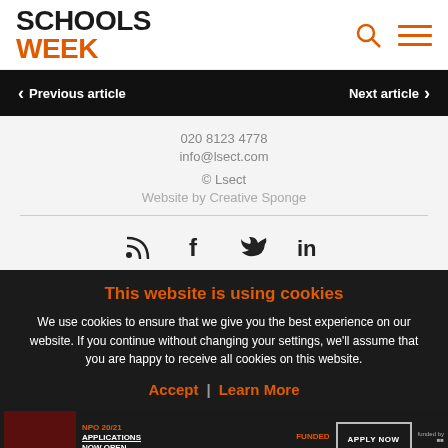SCHOOLS WEEK
Previous article | Next article
020 8123 4778
info@lsect.com
© Lsect
Website by Creative Sponge
[Figure (infographic): Social media icons: RSS feed, Facebook, Twitter, LinkedIn]
This website is using cookies
We use cookies to ensure that we give you the best experience on our website. If you continue without changing your settings, we'll assume that you are happy to receive all cookies on this website.
Accept | Learn More
[Figure (infographic): Advertisement bar at the bottom showing NPO 20/21 applications now open, funded, apply now button]